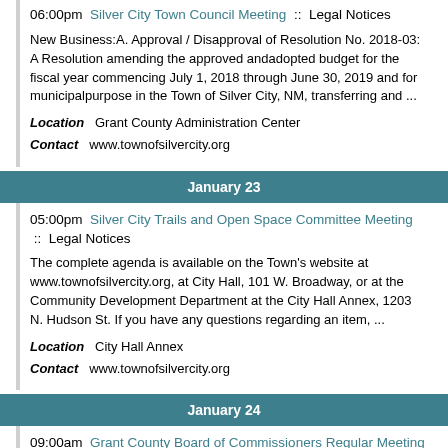06:00pm Silver City Town Council Meeting :: Legal Notices
New Business:A. Approval / Disapproval of Resolution No. 2018-03: A Resolution amending the approved andadopted budget for the fiscal year commencing July 1, 2018 through June 30, 2019 and for municipalpurpose in the Town of Silver City, NM, transferring and ...
Location  Grant County Administration Center
Contact  www.townofsilvercity.org
January 23
05:00pm  Silver City Trails and Open Space Committee Meeting  ::  Legal Notices
The complete agenda is available on the Town's website at www.townofsilvercity.org, at City Hall, 101 W. Broadway, or at the Community Development Department at the City Hall Annex, 1203 N. Hudson St. If you have any questions regarding an item, ...
Location  City Hall Annex
Contact  www.townofsilvercity.org
January 24
09:00am  Grant County Board of Commissioners Regular Meeting  ::  Legal Notices